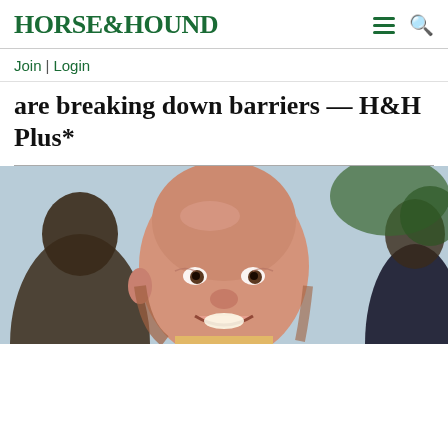HORSE&HOUND
Join | Login
are breaking down barriers — H&H Plus*
[Figure (photo): Close-up photo of a smiling bald man at an outdoor event, with other people blurred in the background]
Frontgate SALES
20% off sitewide plus free shipping from August 19-22
frontgate.com